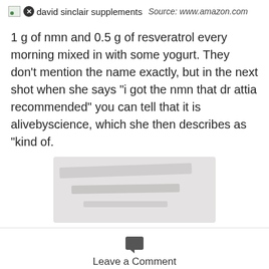david sinclair supplements  Source: www.amazon.com
1 g of nmn and 0.5 g of resveratrol every morning mixed in with some yogurt. They don’t mention the name exactly, but in the next shot when she says “i got the nmn that dr attia recommended” you can tell that it is alivebyscience, which she then describes as “kind of.
[Figure (photo): Blurred/redacted product image]
Leave a Comment